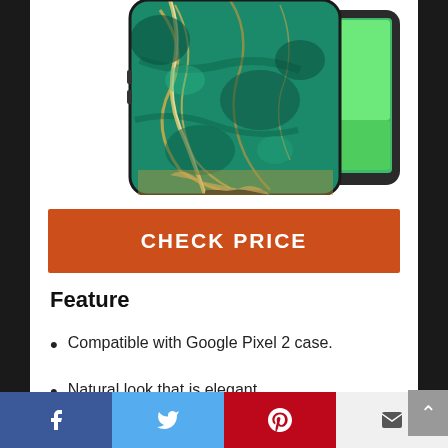[Figure (photo): Product photo of a green marble-patterned phone case for Google Pixel 2, shown from the back with a phone partially visible behind it. The case features a teal/green marble texture with gold veining.]
CHECK PRICE
Feature
Compatible with Google Pixel 2 case.
Natural look that is elegant,
Facebook | Twitter | Pinterest | Email